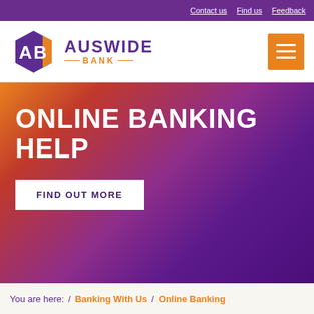Contact us   Find us   Feedback
[Figure (logo): Auswide Bank logo with hexagonal AB monogram in purple and orange, and text AUSWIDE BANK]
ONLINE BANKING HELP
FIND OUT MORE
You are here:  /  Banking With Us  /  Online Banking